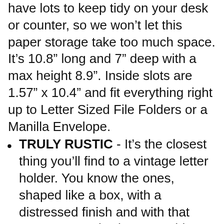have lots to keep tidy on your desk or counter, so we won't let this paper storage take too much space. It's 10.8" long and 7" deep with a max height 8.9". Inside slots are 1.57" x 10.4" and fit everything right up to Letter Sized File Folders or a Manilla Envelope.
TRULY RUSTIC - It's the closest thing you'll find to a vintage letter holder. You know the ones, shaped like a box, with a distressed finish and with that gorgeous rustic charm. Nothing else really fits the definition of farmhouse mail organizer like this style, wouldn't you agree? Take it home and see!
WITH VINTAGE NAME PLATES - People, department or subject – go ahead and add whatever name you need to this